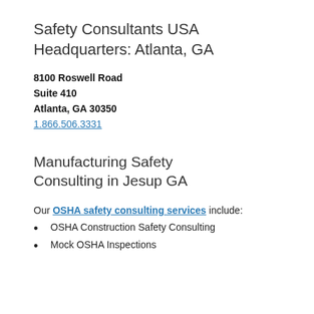Safety Consultants USA Headquarters: Atlanta, GA
8100 Roswell Road
Suite 410
Atlanta, GA 30350
1.866.506.3331
Manufacturing Safety Consulting in Jesup GA
Our OSHA safety consulting services include:
OSHA Construction Safety Consulting
Mock OSHA Inspections